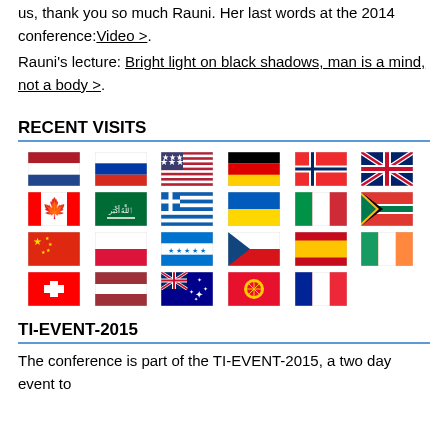us, thank you so much Rauni. Her last words at the 2014 conference: Video >.
Rauni's lecture: Bright light on black shadows, man is a mind, not a body >.
RECENT VISITS
[Figure (infographic): Grid of 23 country flags: Netherlands, Russia, USA, Germany, Norway, UK, Canada, Saudi Arabia, Greece, Ukraine, Italy, South Africa, China, Poland, Honduras, Czech Republic, Spain, Ireland, Switzerland, Latvia, Australia, Kyrgyzstan, France]
TI-EVENT-2015
The conference is part of the TI-EVENT-2015, a two day event to